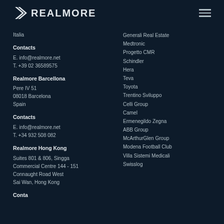REALMORE
Italia
Contacts
E. info@realmore.net
T. +39 02 36589575
Realmore Barcellona
Pere IV 51
08018 Barcelona
Spain
Contacts
E. info@realmore.net
T. +34 932 508 082
Realmore Hong Kong
Suites 801 & 806, Singga
Commercial Centre 144 - 151
Connaught Road West
Sai Wan, Hong Kong
Generali Real Estate
Medtronic
Progetto CMR
Schindler
Hera
Teva
Toyota
Trentino Sviluppo
Celli Group
Camel
Ermenegildo Zegna
ABB Group
McArthurGlen Group
Modena Football Club
Villa Sistemi Medicali
Swisslog